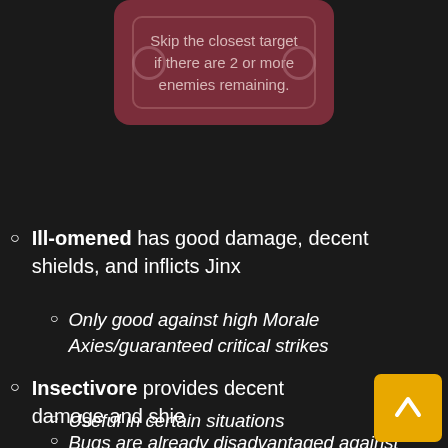[Figure (illustration): Dark red rounded card with text about skipping the closest target if there are 2 or more enemies remaining]
Skip the closest target if there are 2 or more enemies remaining.
Ill-omened has good damage, decent shields, and inflicts Jinx
Only good against high Morale Axies/guaranteed critical strikes
Insectivore provides decent damage and shie...
Useful in certain situations
Bugs are already disadvantaged against Birds